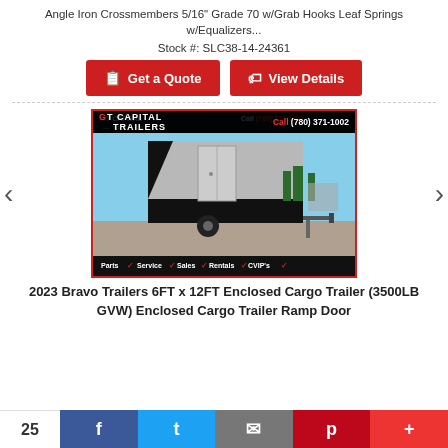Angle Iron Crossmembers 5/16" Grade 70 w/Grab Hooks Leaf Springs w/Equalizers...
Stock #: SLC38-14-24361
[Figure (other): Two red buttons: 'Get a Quote' and 'View Details']
[Figure (photo): Photo of a 2023 Bravo Trailers 6FT x 12FT Enclosed Cargo Trailer with Capital Trailers branding. Shows silver and black enclosed trailer in a lot. Top bar with logo and phone number (780) 371-1002. Bottom bar with Parts, Service, Sales, Rentals, CVIP's.]
2023 Bravo Trailers 6FT x 12FT Enclosed Cargo Trailer (3500LB GVW) Enclosed Cargo Trailer Ramp Door
25  [Facebook] [Twitter] [Email] [Pinterest] [+]